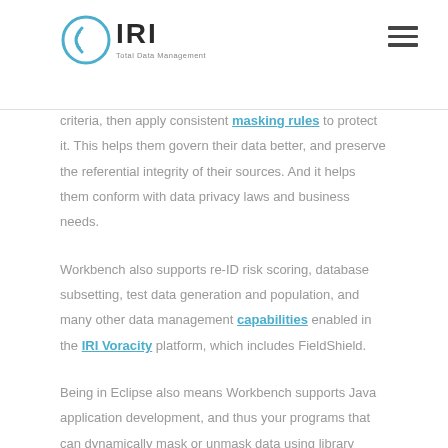IRI – Total Data Management
criteria, then apply consistent masking rules to protect it. This helps them govern their data better, and preserve the referential integrity of their sources. And it helps them conform with data privacy laws and business needs.
Workbench also supports re-ID risk scoring, database subsetting, test data generation and population, and many other data management capabilities enabled in the IRI Voracity platform, which includes FieldShield.
Being in Eclipse also means Workbench supports Java application development, and thus your programs that can dynamically mask or unmask data using library functions compatible with the static functions. Again, the API is documented in the FieldShield SDK.